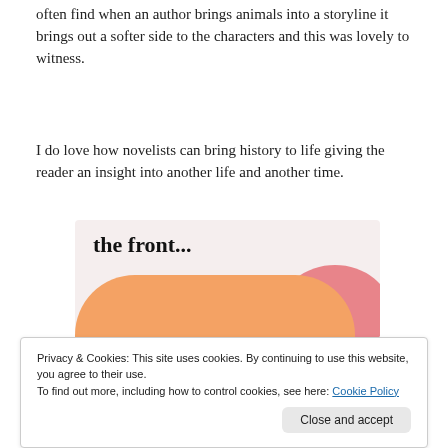often find when an author brings animals into a storyline it brings out a softer side to the characters and this was lovely to witness.
I do love how novelists can bring history to life giving the reader an insight into another life and another time.
[Figure (other): Decorative image with text 'the front...' on a light pink/cream background, and 'WordPress in the back.' on an orange rounded rectangle with pink and lavender blob shapes.]
Privacy & Cookies: This site uses cookies. By continuing to use this website, you agree to their use.
To find out more, including how to control cookies, see here: Cookie Policy